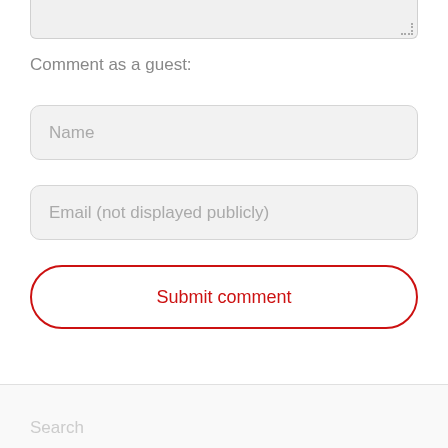[Figure (screenshot): Top portion of a text area input field (cropped), showing the bottom edge with a resize handle in the corner]
Comment as a guest:
[Figure (screenshot): Name input field with placeholder text 'Name']
[Figure (screenshot): Email input field with placeholder text 'Email (not displayed publicly)']
[Figure (screenshot): Submit comment button with red border and red text]
Search